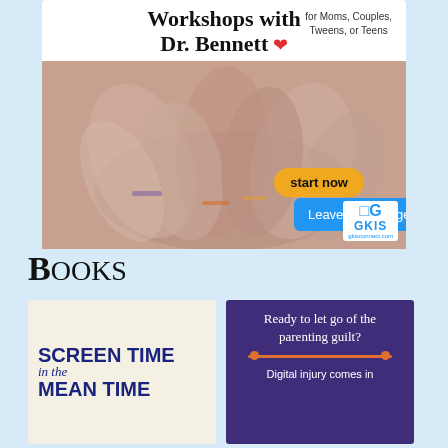[Figure (illustration): Advertisement for Workshops with Dr. Bennett for Moms, Couples, Tweens, or Teens. Shows multiple hands joined together in a team gesture. Features a 'start now' button in yellow/orange rounded rectangle, a blue 'Leave a message' bar with X button, and the GKIS logo at bottom right.]
Books
[Figure (photo): Book cover image showing 'SCREEN TIME in the MEAN TIME' text in bold dark blue letters on a light beige background.]
[Figure (illustration): Book or promotional card with dark purple background, white text reading 'Ready to let go of the parenting guilt?' with an orange horizontal line and text 'Digital injury comes in']